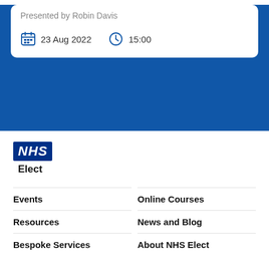Presented by Robin Davis
23 Aug 2022
15:00
[Figure (logo): NHS logo — white italic bold text NHS on dark blue background, with Elect label below]
Events
Online Courses
Resources
News and Blog
Bespoke Services
About NHS Elect
Contact Us
020 3925 4851
info@nhselect.org.uk